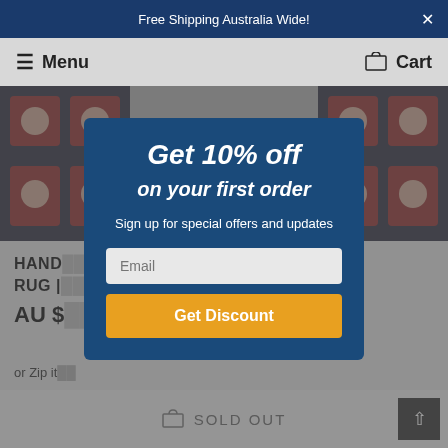Free Shipping Australia Wide!
Menu   Cart
[Figure (screenshot): Background product page showing partial rug images on left and right, product title HANDMADE RUG, price AU $, and 'or Zip it' text. Dimmed by overlay.]
Get 10% off
on your first order
Sign up for special offers and updates
Email
Get Discount
SOLD OUT
or Zip it